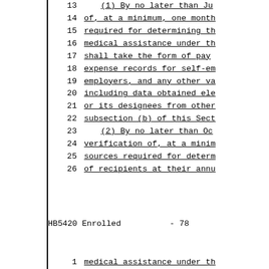13    (1) By no later than Ju
14    of, at a minimum, one month
15    required for determining th
16    medical assistance under th
17    shall take the form of pay
18    expense records for self-em
19    employers, and any other va
20    including data obtained ele
21    or its designees from other
22    subsection (b) of this Sect
23    (2) By no later than Oc
24    verification of, at a minim
25    sources required for determ
26    of recipients at their annu
HB5420 Enrolled          - 78
1     medical assistance under th